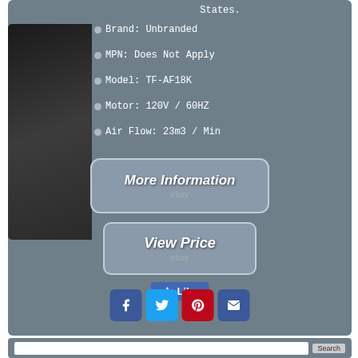States.
Brand: Unbranded
MPN: Does Not Apply
Model: TF-AF18K
Motor: 120V / 60HZ
Air Flow: 23m3 / Min
[Figure (other): Button with italic text 'More Information' and eBay logo]
[Figure (other): Button with italic text 'View Price' and eBay logo]
[Figure (other): Facebook Like button]
[Figure (other): Social sharing icons: Facebook, Twitter, Pinterest, Email]
[Figure (other): Search bar at bottom with Search button]